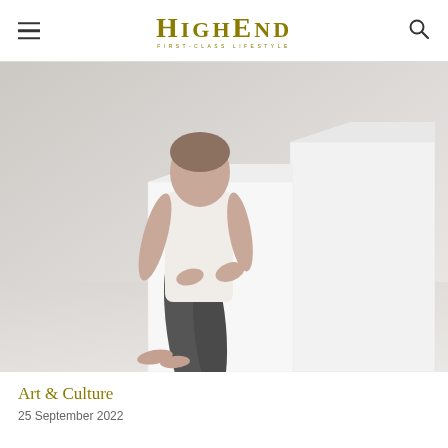HighEnd — First-Class Lifestyle
[Figure (photo): A person in white tank top and dark trousers leaning on white geometric cube sculptures against a white/grey background. Photography studio setting.]
Art & Culture
25 September 2022